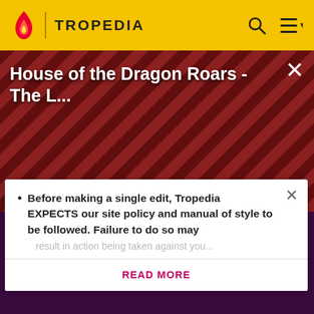TROPEDIA
[Figure (screenshot): Video thumbnail showing striped diagonal red/dark background with two silhouetted heads, video title 'House of the Dragon Roars - The L...' overlaid in white text]
House of the Dragon Roars - The L...
Before making a single edit, Tropedia EXPECTS our site policy and manual of style to be followed. Failure to do so may
READ MORE
[Figure (logo): Fandom logo in cream/white text on dark purple background, with flame and heart icon replacing the letter 'o']